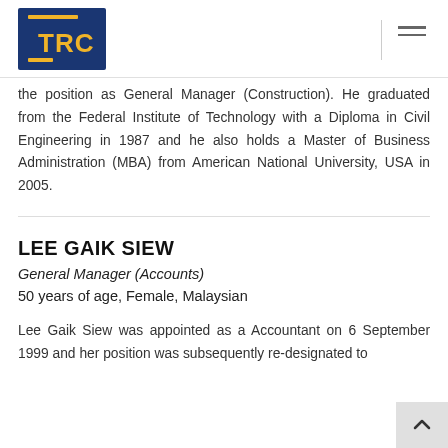TRC logo and navigation
the position as General Manager (Construction). He graduated from the Federal Institute of Technology with a Diploma in Civil Engineering in 1987 and he also holds a Master of Business Administration (MBA) from American National University, USA in 2005.
LEE GAIK SIEW
General Manager (Accounts)
50 years of age, Female, Malaysian
Lee Gaik Siew was appointed as a Accountant on 6 September 1999 and her position was subsequently re-designated to